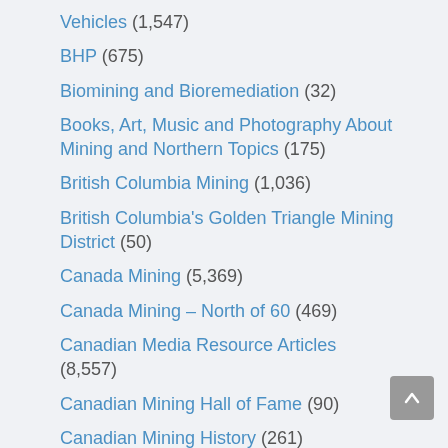Vehicles (1,547)
BHP (675)
Biomining and Bioremediation (32)
Books, Art, Music and Photography About Mining and Northern Topics (175)
British Columbia Mining (1,036)
British Columbia's Golden Triangle Mining District (50)
Canada Mining (5,369)
Canada Mining – North of 60 (469)
Canadian Media Resource Articles (8,557)
Canadian Mining Hall of Fame (90)
Canadian Mining History (261)